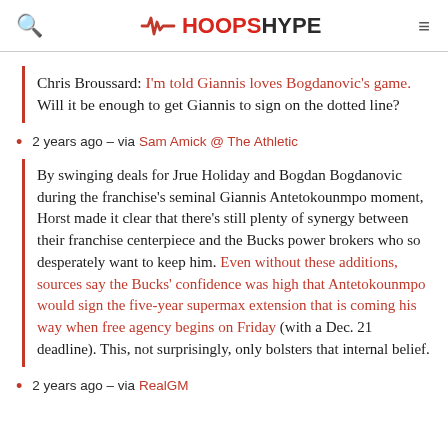HOOPSHYPE
Chris Broussard: I'm told Giannis loves Bogdanovic's game. Will it be enough to get Giannis to sign on the dotted line?
2 years ago – via Sam Amick @ The Athletic
By swinging deals for Jrue Holiday and Bogdan Bogdanovic during the franchise's seminal Giannis Antetokounmpo moment, Horst made it clear that there's still plenty of synergy between their franchise centerpiece and the Bucks power brokers who so desperately want to keep him. Even without these additions, sources say the Bucks' confidence was high that Antetokounmpo would sign the five-year supermax extension that is coming his way when free agency begins on Friday (with a Dec. 21 deadline). This, not surprisingly, only bolsters that internal belief.
2 years ago – via RealGM